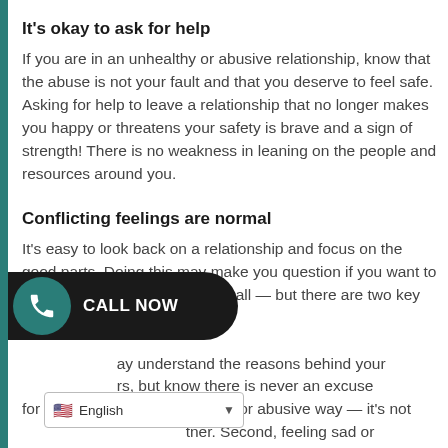It's okay to ask for help
If you are in an unhealthy or abusive relationship, know that the abuse is not your fault and that you deserve to feel safe. Asking for help to leave a relationship that no longer makes you happy or threatens your safety is brave and a sign of strength! There is no weakness in leaning on the people and resources around you.
Conflicting feelings are normal
It's easy to look back on a relationship and focus on the good parts. Doing this may make you question if you want to go through with the breakup at all — but there are two key things to remember …ay understand the reasons behind your …rs, but know there is never an excuse for treating you in an unhealthy or abusive way — it's not …tner. Second, feeling sad or